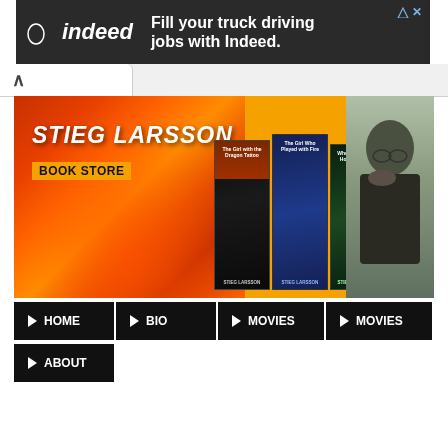[Figure (screenshot): Indeed job advertisement banner with dark background. Text reads 'Fill your truck driving jobs with Indeed.' with Indeed logo on the left.]
[Figure (screenshot): Stieg Larsson Book Store website banner with orange/fire background, showing book covers of the Millennium trilogy and a photo of author Stieg Larsson.]
STIEG LARSSON
BOOK STORE
HOME
BIO
MOVIES
MOVIES
ABOUT